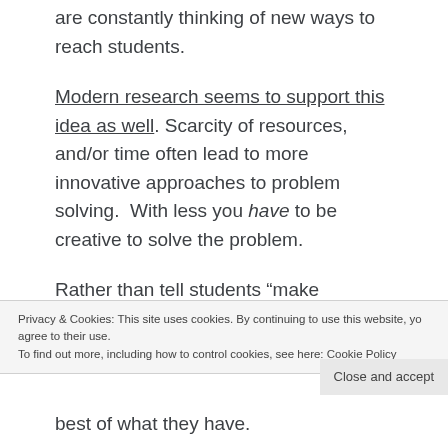are constantly thinking of new ways to reach students.
Modern research seems to support this idea as well. Scarcity of resources, and/or time often lead to more innovative approaches to problem solving.  With less you have to be creative to solve the problem.
Rather than tell students “make something” when you tell them to “make a tree,” you have
Privacy & Cookies: This site uses cookies. By continuing to use this website, you agree to their use.
To find out more, including how to control cookies, see here: Cookie Policy
Close and accept
best of what they have.